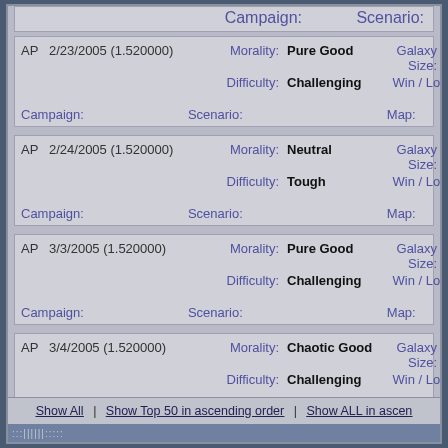|  | Date | Morality | Value | Galaxy Size | Size Value |
| --- | --- | --- | --- | --- | --- |
| AP | 2/23/2005 (1.520000) | Morality: | Pure Good | Galaxy Size: | Tiny |
|  |  | Difficulty: | Challenging | Win / Lost: | Win: Cult Conquest |
|  | Campaign: | Scenario: |  | Map: |  |
| AP | 2/24/2005 (1.520000) | Morality: | Neutral | Galaxy Size: | Tiny |
|  |  | Difficulty: | Tough | Win / Lost: | Win: Cult Conquest |
|  | Campaign: | Scenario: |  | Map: |  |
| AP | 3/3/2005 (1.520000) | Morality: | Pure Good | Galaxy Size: | Tiny |
|  |  | Difficulty: | Challenging | Win / Lost: | Win: Milit |
|  | Campaign: | Scenario: |  | Map: |  |
| AP | 3/4/2005 (1.520000) | Morality: | Chaotic Good | Galaxy Size: | Small |
|  |  | Difficulty: | Challenging | Win / Lost: | Win: Milit |
|  | Campaign: | Scenario: |  | Map: |  |
Show All | Show Top 50 in ascending order | Show ALL in ascending order